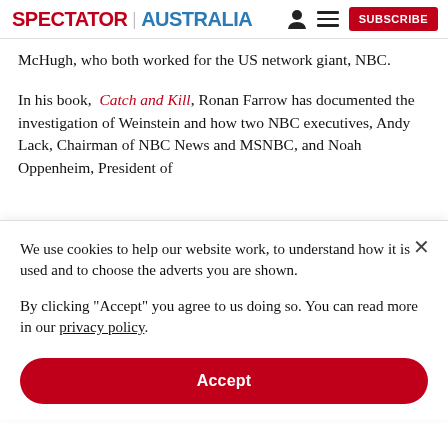SPECTATOR | AUSTRALIA
McHugh, who both worked for the US network giant, NBC.
In his book, Catch and Kill, Ronan Farrow has documented the investigation of Weinstein and how two NBC executives, Andy Lack, Chairman of NBC News and MSNBC, and Noah Oppenheim, President of
We use cookies to help our website work, to understand how it is used and to choose the adverts you are shown.
By clicking "Accept" you agree to us doing so. You can read more in our privacy policy.
Accept